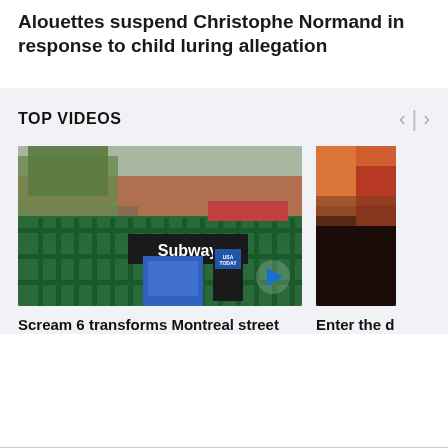Alouettes suspend Christophe Normand in response to child luring allegation
TOP VIDEOS
[Figure (photo): Street scene showing a New York City subway entrance with green railings and a 'Subway' sign, a blue newspaper box in foreground, USA Today newspaper box, and a play button overlay in the bottom right corner.]
Scream 6 transforms Montreal street
[Figure (photo): Partially visible image with warm red, orange, and dark tones, cropped on the right edge of the viewport.]
Enter the d